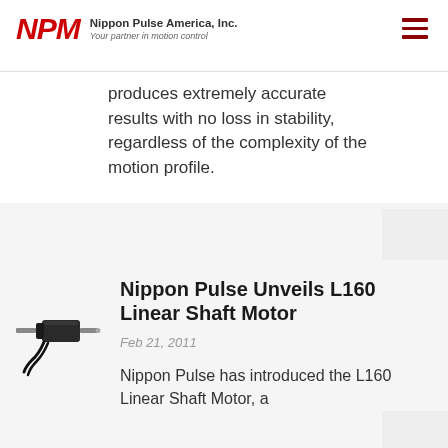NPM Nippon Pulse America, Inc. Your partner in motion control
produces extremely accurate results with no loss in stability, regardless of the complexity of the motion profile.
[Figure (photo): L160 Linear Shaft Motor product photo — a small black cylindrical motor with a shaft and cable]
Nippon Pulse Unveils L160 Linear Shaft Motor
Feb 21, 2011
Nippon Pulse has introduced the L160 Linear Shaft Motor, a